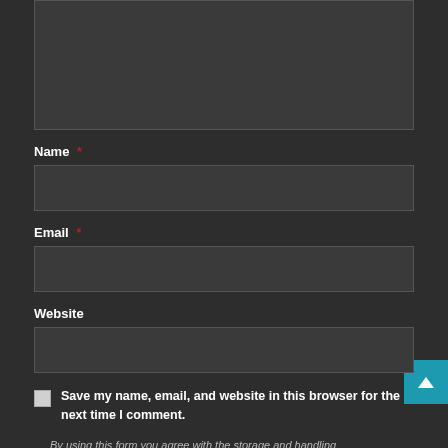[Figure (screenshot): Dark textarea input box at the top of the form]
Name *
[Figure (screenshot): Name text input field box]
Email *
[Figure (screenshot): Email text input field box]
Website
[Figure (screenshot): Website text input field box]
Save my name, email, and website in this browser for the next time I comment.
By using this form you agree with the storage and handling